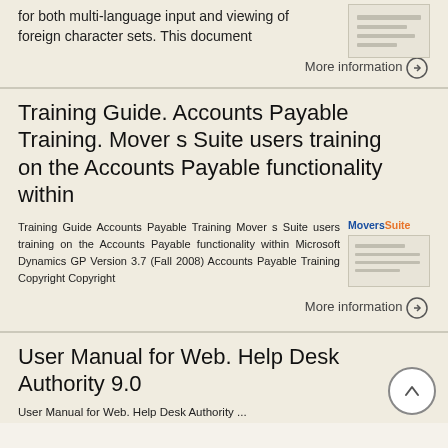for both multi-language input and viewing of foreign character sets. This document
More information →
Training Guide. Accounts Payable Training. Mover s Suite users training on the Accounts Payable functionality within
Training Guide Accounts Payable Training Mover s Suite users training on the Accounts Payable functionality within Microsoft Dynamics GP Version 3.7 (Fall 2008) Accounts Payable Training Copyright Copyright
[Figure (other): MoversSuite logo and document thumbnail]
More information →
User Manual for Web. Help Desk Authority 9.0